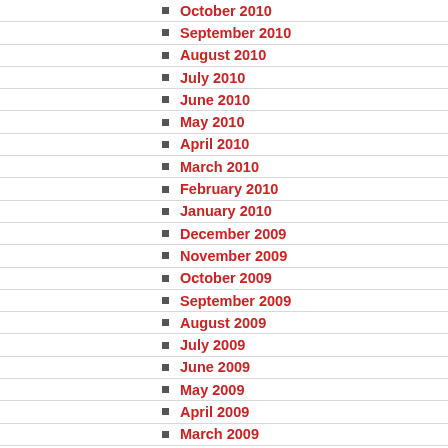October 2010
September 2010
August 2010
July 2010
June 2010
May 2010
April 2010
March 2010
February 2010
January 2010
December 2009
November 2009
October 2009
September 2009
August 2009
July 2009
June 2009
May 2009
April 2009
March 2009
February 2009